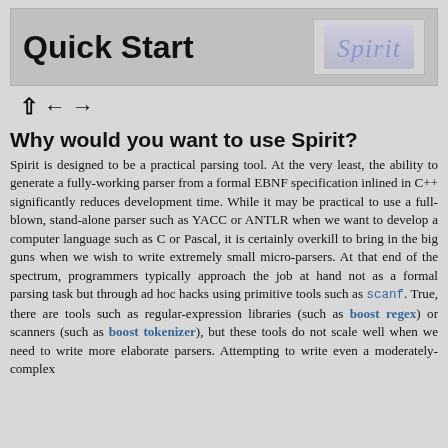Quick Start
[Figure (other): Spirit logo in cursive italic text inside a grey rounded box]
Why would you want to use Spirit?
Spirit is designed to be a practical parsing tool. At the very least, the ability to generate a fully-working parser from a formal EBNF specification inlined in C++ significantly reduces development time. While it may be practical to use a full-blown, stand-alone parser such as YACC or ANTLR when we want to develop a computer language such as C or Pascal, it is certainly overkill to bring in the big guns when we wish to write extremely small micro-parsers. At that end of the spectrum, programmers typically approach the job at hand not as a formal parsing task but through ad hoc hacks using primitive tools such as scanf. True, there are tools such as regular-expression libraries (such as boost regex) or scanners (such as boost tokenizer), but these tools do not scale well when we need to write more elaborate parsers. Attempting to write even a moderately-complex